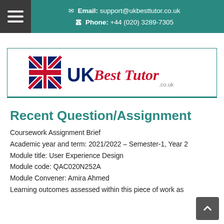Email: support@ukbesttutor.co.uk | Phone: +44 (020) 3289-7305
[Figure (logo): UK Best Tutor logo with Union Jack flag and stylized text]
Recent Question/Assignment
Coursework Assignment Brief
Academic year and term: 2021/2022 – Semester-1, Year 2
Module title: User Experience Design
Module code: QAC020N252A
Module Convener: Amira Ahmed
Learning outcomes assessed within this piece of work as